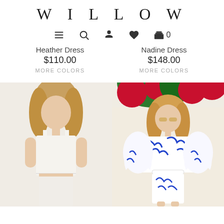WILLOW
Heather Dress $110.00 MORE COLORS | Nadine Dress $148.00 MORE COLORS
[Figure (photo): Model wearing white crop top and high-waisted white pants against neutral background]
[Figure (photo): Model wearing white and blue tropical print off-shoulder top and shorts, standing against white wall with red flowers]